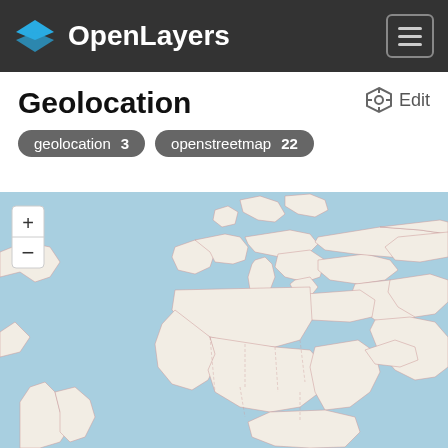OpenLayers
Geolocation
geolocation 3
openstreetmap 22
[Figure (map): OpenStreetMap world map showing Europe, Africa, Middle East, and parts of the Americas. Light beige land with blue ocean. Country borders shown in thin red/pink lines. Zoom controls (+ and -) in upper left.]